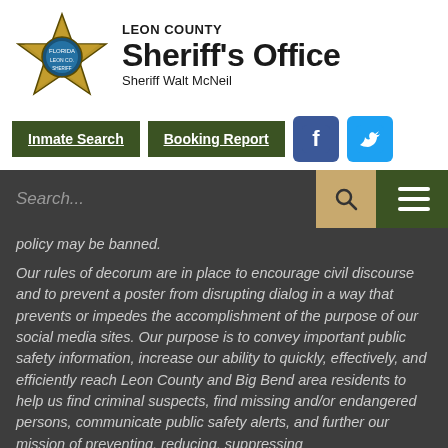[Figure (logo): Leon County Sheriff's Office star badge logo with Florida state seal in center, gold/brass color with black star outline]
LEON COUNTY Sheriff's Office Sheriff Walt McNeil
[Figure (other): Navigation buttons: Inmate Search (dark green), Booking Report (dark green), Facebook icon (blue), Twitter icon (light blue)]
[Figure (screenshot): Search bar with 'Search...' placeholder text, gold search button with magnifying glass icon, dark green hamburger menu on right]
policy may be banned.
Our rules of decorum are in place to encourage civil discourse and to prevent a poster from disrupting dialog in a way that prevents or impedes the accomplishment of the purpose of our social media sites. Our purpose is to convey important public safety information, increase our ability to quickly, effectively, and efficiently reach Leon County and Big Bend area residents to help us find criminal suspects, find missing and/or endangered persons, communicate public safety alerts, and further our mission of preventing, reducing, suppressing...